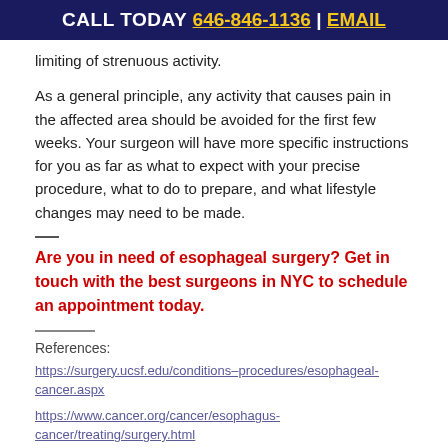CALL TODAY 646-846-1136 | EMAIL
limiting of strenuous activity.
As a general principle, any activity that causes pain in the affected area should be avoided for the first few weeks. Your surgeon will have more specific instructions for you as far as what to expect with your precise procedure, what to do to prepare, and what lifestyle changes may need to be made.
Are you in need of esophageal surgery? Get in touch with the best surgeons in NYC to schedule an appointment today.
References:
https://surgery.ucsf.edu/conditions–procedures/esophageal-cancer.aspx
https://www.cancer.org/cancer/esophagus-cancer/treating/surgery.html